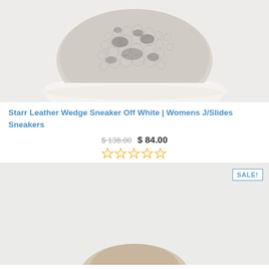[Figure (photo): Top portion of a snakeskin pattern white wedge sneaker shown on a light gray background, cropped to show the toe and sole area.]
Starr Leather Wedge Sneaker Off White | Womens J/Slides Sneakers
$ 136.00  $ 84.00
☆☆☆☆☆ (star rating, 0 out of 5)
[Figure (photo): Second product image showing a shoe on a light gray background with a SALE! badge in the top right corner. The shoe is partially visible at the bottom of the frame.]